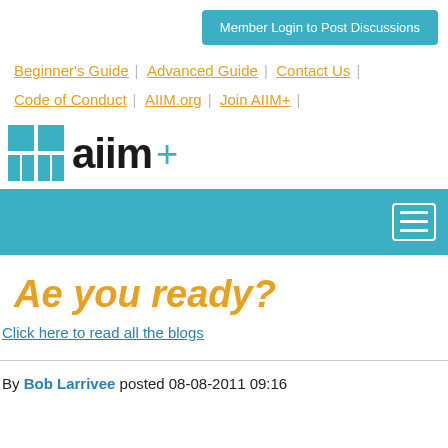Member Login to Post Discussions
Beginner's Guide | Advanced Guide | Contact Us | Code of Conduct | AIIM.org | Join AIIM+
[Figure (logo): AIIM+ logo with teal square grid icon, bold black 'aiim' text and teal plus sign]
[Figure (other): Teal navigation bar with hamburger menu icon on the right]
Ae you ready?
Click here to read all the blogs
By Bob Larrivee posted 08-08-2011 09:16